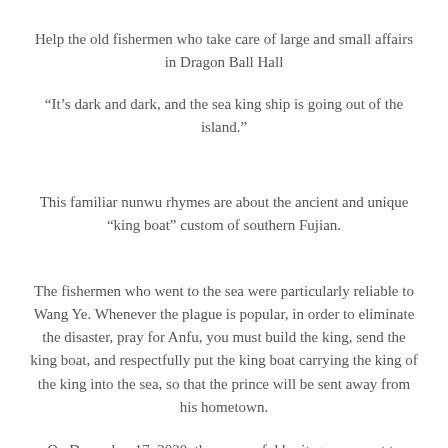Help the old fishermen who take care of large and small affairs in Dragon Ball Hall
“It’s dark and dark, and the sea king ship is going out of the island.”
This familiar nunwu rhymes are about the ancient and unique “king boat” custom of southern Fujian.
The fishermen who went to the sea were particularly reliable to Wang Ye. Whenever the plague is popular, in order to eliminate the disaster, pray for Anfu, you must build the king, send the king boat, and respectfully put the king boat carrying the king of the king into the sea, so that the prince will be sent away from his hometown.
On December 17, 2020, the successful heritage was sent to